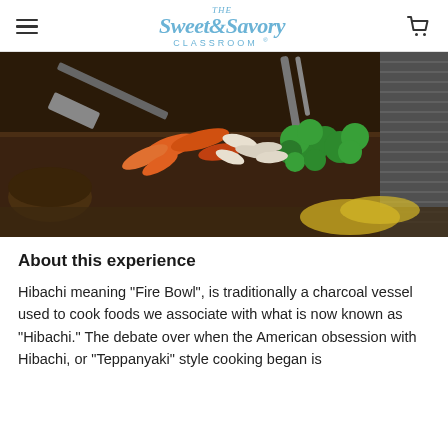The Sweet & Savory Classroom
[Figure (photo): Hibachi cooking scene showing vegetables including broccoli, carrots, and onions being cooked on a flat iron griddle with spatulas and tongs visible]
About this experience
Hibachi meaning “Fire Bowl”, is traditionally a charcoal vessel used to cook foods we associate with what is now known as “Hibachi.” The debate over when the American obsession with Hibachi, or “Teppanyaki” style cooking began is